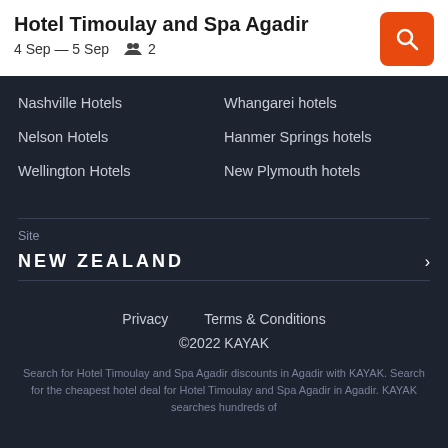Hotel Timoulay and Spa Agadir
4 Sep — 5 Sep   👥 2
Nashville Hotels
Nelson Hotels
Wellington Hotels
Whangarei hotels
Hanmer Springs hotels
New Plymouth hotels
Site
NEW ZEALAND
Privacy    Terms & Conditions
©2022 KAYAK
Search for Hotel Timoulay and Spa Agadir discounts in Agadir with KAYAK. Search for the cheapest hotel deal for Hotel Timoulay and Spa Agadir in Agadir. KAYAK searches hundreds of